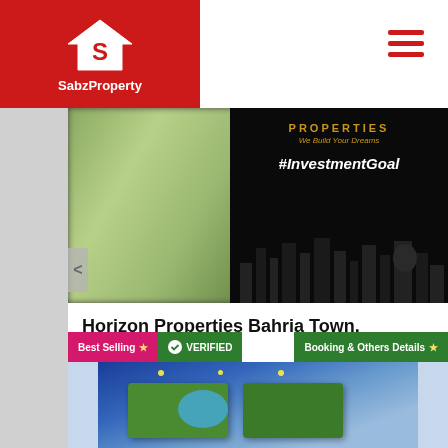SabzProperty
[Figure (photo): Property listing banner image showing cityscape with text 'PROPERTIES We Build Your Dreams #InvestmentGoal']
Horizon Properties Bahria Town, Karacahi
125,250 & 500 SqYrd Villas With 4 Year Installment Plan
[Figure (logo): SabzProperty circular logo icon]
Best Selling ★   ✓ VERIFIED   Booking & Others Details ★
[Figure (photo): Aerial view of villa/residential property]